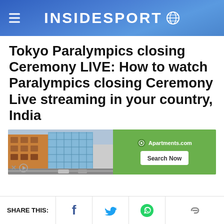INSIDESPORT
Tokyo Paralympics closing Ceremony LIVE: How to watch Paralympics closing Ceremony Live streaming in your country, India
[Figure (screenshot): Advertisement banner showing an apartment building photo on the left and Apartments.com logo with Search Now button on green background on the right]
SHARE THIS: